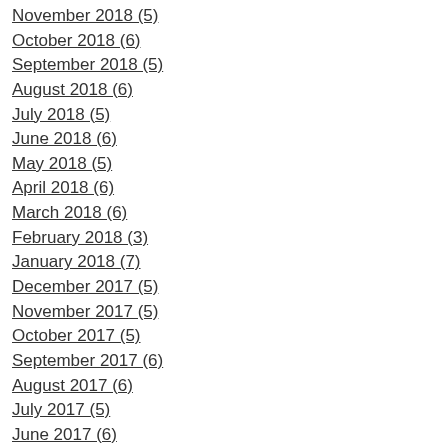November 2018 (5)
October 2018 (6)
September 2018 (5)
August 2018 (6)
July 2018 (5)
June 2018 (6)
May 2018 (5)
April 2018 (6)
March 2018 (6)
February 2018 (3)
January 2018 (7)
December 2017 (5)
November 2017 (5)
October 2017 (5)
September 2017 (6)
August 2017 (6)
July 2017 (5)
June 2017 (6)